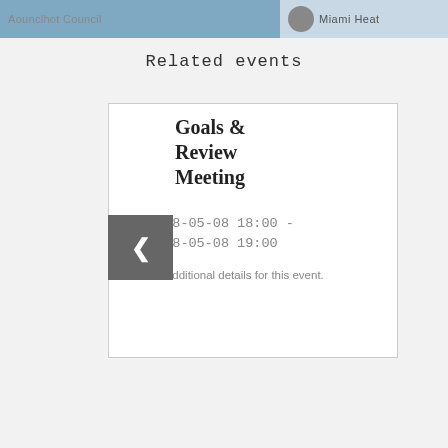[Figure (screenshot): Top image bar showing partial UI with two sections: left side with blurred background and partial text, right side showing Miami Heat logo/avatar and text]
Related events
Goals & Review Meeting
2018-05-08 18:00 - 2018-05-08 19:00
No additional details for this event.